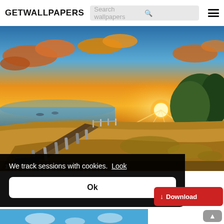GETWALLPAPERS
[Figure (screenshot): Screenshot of GetWallpapers website showing a sunset beach wallpaper with a wooden pier, golden sky, and orange clouds. A cookie consent banner overlays the bottom portion.]
1920x1080 Summer D
We track sessions with cookies. Look
Ok
Download